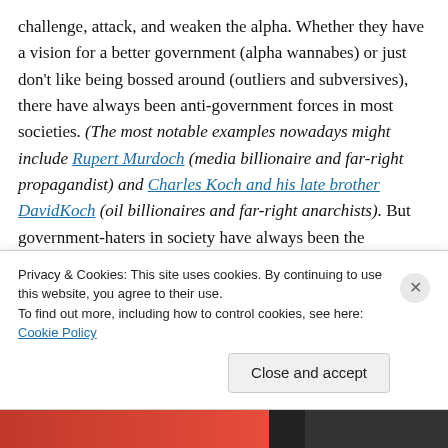challenge, attack, and weaken the alpha. Whether they have a vision for a better government (alpha wannabes) or just don't like being bossed around (outliers and subversives), there have always been anti-government forces in most societies. (The most notable examples nowadays might include Rupert Murdoch (media billionaire and far-right propagandist) and Charles Koch and his late brother DavidKoch (oil billionaires and far-right anarchists). But government-haters in society have always been the exception. Most people accept government as their alpha, especially when the leaders are honest and foster freedom
Privacy & Cookies: This site uses cookies. By continuing to use this website, you agree to their use. To find out more, including how to control cookies, see here: Cookie Policy
Close and accept